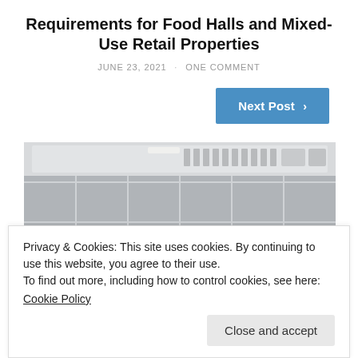Requirements for Food Halls and Mixed-Use Retail Properties
JUNE 23, 2021 · ONE COMMENT
Next Post ›
[Figure (photo): Kitchen exhaust hood mounted above grey tiled wall, viewed from below. A blue bar is visible at the bottom of the image.]
Privacy & Cookies: This site uses cookies. By continuing to use this website, you agree to their use.
To find out more, including how to control cookies, see here:
Cookie Policy
Close and accept